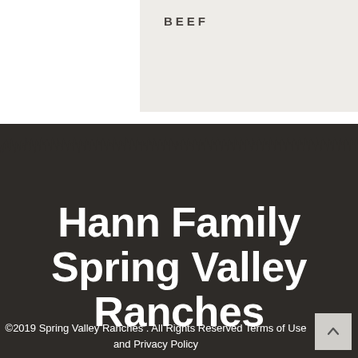BEEF
Hann Family Spring Valley Ranches
©2019 Spring Valley Ranches . All Rights Reserved Terms of Use and Privacy Policy